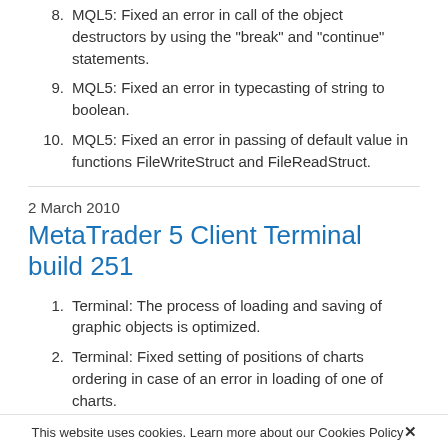8. MQL5: Fixed an error in call of the object destructors by using the "break" and "continue" statements.
9. MQL5: Fixed an error in typecasting of string to boolean.
10. MQL5: Fixed an error in passing of default value in functions FileWriteStruct and FileReadStruct.
2 March 2010
MetaTrader 5 Client Terminal build 251
1. Terminal: The process of loading and saving of graphic objects is optimized.
2. Terminal: Fixed setting of positions of charts ordering in case of an error in loading of one of charts.
This website uses cookies. Learn more about our Cookies Policy ✕